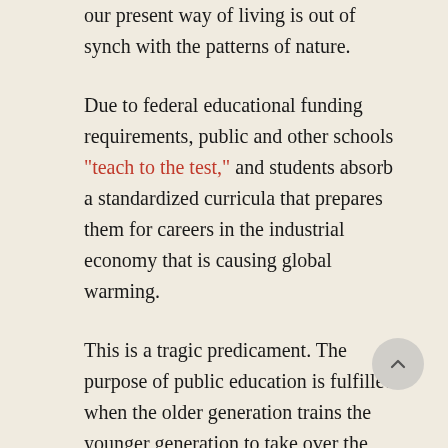our present way of living is out of synch with the patterns of nature.
Due to federal educational funding requirements, public and other schools "teach to the test," and students absorb a standardized curricula that prepares them for careers in the industrial economy that is causing global warming.
This is a tragic predicament. The purpose of public education is fulfilled when the older generation trains the younger generation to take over the controls of civilization; but if that civilization is unsustainable—as our industrial civilization is—then that training is a training, ultimately, in hopelessness.
We have arrived at the moment in history where it is reasonable, and responsible, to argue that training